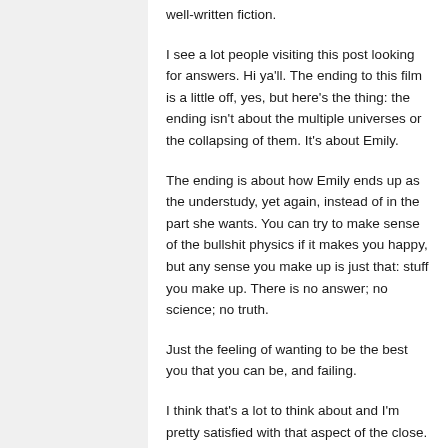well-written fiction.
I see a lot people visiting this post looking for answers. Hi ya'll. The ending to this film is a little off, yes, but here's the thing: the ending isn't about the multiple universes or the collapsing of them. It's about Emily.
The ending is about how Emily ends up as the understudy, yet again, instead of in the part she wants. You can try to make sense of the bullshit physics if it makes you happy, but any sense you make up is just that: stuff you make up. There is no answer; no science; no truth.
Just the feeling of wanting to be the best you that you can be, and failing.
I think that's a lot to think about and I'm pretty satisfied with that aspect of the close. If anything, I think they got too worried about making the film make sense (which is why I like the original idea for the ending better).